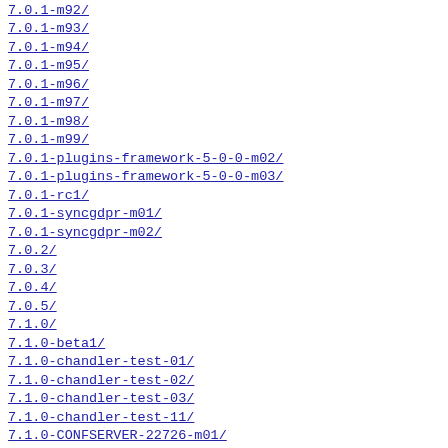7.0.1-m92/
7.0.1-m93/
7.0.1-m94/
7.0.1-m95/
7.0.1-m96/
7.0.1-m97/
7.0.1-m98/
7.0.1-m99/
7.0.1-plugins-framework-5-0-0-m02/
7.0.1-plugins-framework-5-0-0-m03/
7.0.1-rc1/
7.0.1-syncgdpr-m01/
7.0.1-syncgdpr-m02/
7.0.2/
7.0.3/
7.0.4/
7.0.5/
7.1.0/
7.1.0-beta1/
7.1.0-chandler-test-01/
7.1.0-chandler-test-02/
7.1.0-chandler-test-03/
7.1.0-chandler-test-11/
7.1.0-CONFSERVER-22726-m01/
7.1.0-CONFSERVER-32315-m01/
7.1.0-CONFSERVER-58261-m01/
7.1.0-CONFSRVDEV-11618-m05/
7.1.0-CONFSRVDEV-11618-m06/
7.1.0-CONFSRVDEV-302-m01/
7.1.0-CONFSRVDEV-302-m02/